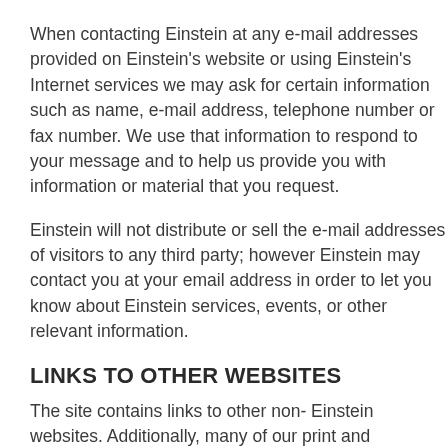When contacting Einstein at any e-mail addresses provided on Einstein's website or using Einstein's Internet services we may ask for certain information such as name, e-mail address, telephone number or fax number. We use that information to respond to your message and to help us provide you with information or material that you request.
Einstein will not distribute or sell the e-mail addresses of visitors to any third party; however Einstein may contact you at your email address in order to let you know about Einstein services, events, or other relevant information.
LINKS TO OTHER WEBSITES
The site contains links to other non- Einstein websites. Additionally, many of our print and electronic publications contain links to other non-Einstein websites.  Einstein is not responsible for the content on those websites. Some of the